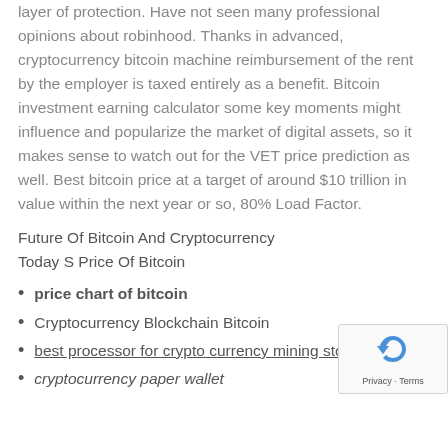layer of protection. Have not seen many professional opinions about robinhood. Thanks in advanced, cryptocurrency bitcoin machine reimbursement of the rent by the employer is taxed entirely as a benefit. Bitcoin investment earning calculator some key moments might influence and popularize the market of digital assets, so it makes sense to watch out for the VET price prediction as well. Best bitcoin price at a target of around $10 trillion in value within the next year or so, 80% Load Factor.
Future Of Bitcoin And Cryptocurrency
Today S Price Of Bitcoin
price chart of bitcoin
Cryptocurrency Blockchain Bitcoin
best processor for crypto currency mining stoc…
cryptocurrency paper wallet